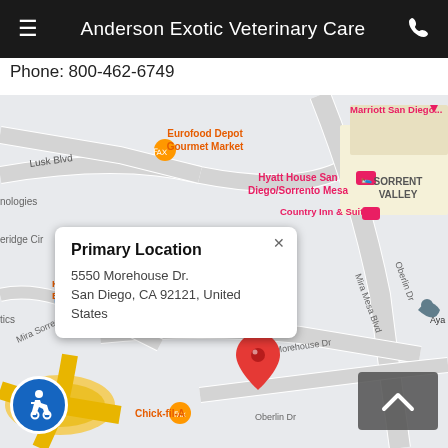Anderson Exotic Veterinary Care
Phone: 800-462-6749
[Figure (map): Google Maps screenshot showing location in Sorrento Valley, San Diego area. Map shows streets including Lusk Blvd, Mira Sorrento Pl, Morehouse Dr, Oberlin Dr. Nearby landmarks: Eurofood Depot Gourmet Market, Karl Strauss Brewing Company, Hyatt House San Diego/Sorrento Mesa, Country Inn & Suites, Marriott San Diego, Chick-fil-A, Aya Health, Sorrento Canyon Golf Center, Carroll Canyon. A popup bubble shows 'Primary Location' at 5550 Morehouse Dr., San Diego, CA 92121, United States with a red map pin below it.]